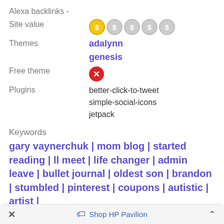Alexa backlinks -
Site value: [1 active dollar icon, 4 inactive dollar icons]
Themes: adalynn, genesis
Free theme: [X icon]
Plugins: better-click-to-tweet, simple-social-icons, jetpack
Keywords
gary vaynerchuk | mom blog | started reading | ll meet | life changer | admin leave | bullet journal | oldest son | brandon | stumbled | pinterest | coupons | autistic | artist |
× Shop HP Pavilion ^